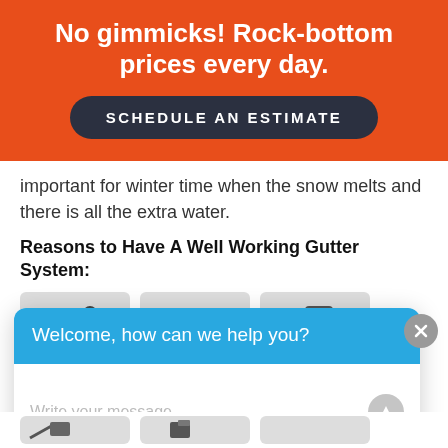No gimmicks! Rock-bottom prices every day.
SCHEDULE AN ESTIMATE
important for winter time when the snow melts and there is all the extra water.
Reasons to Have A Well Working Gutter System:
[Figure (illustration): Three icon cards showing gutter/roofing related illustrations on grey backgrounds]
[Figure (screenshot): Chat widget overlay with cyan header saying 'Welcome, how can we help you?' and a text input area with placeholder 'Write your message...']
[Figure (illustration): Partial bottom row of icon cards, partially cropped]